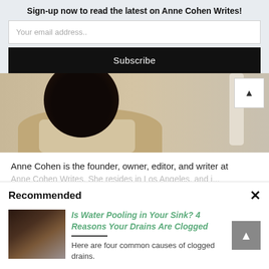Sign-up now to read the latest on Anne Cohen Writes!
Your email address..
Subscribe
[Figure (photo): Cropped photo of a person seen from behind with dark hair, sitting on a beige cushioned seat, with a light wood floor and white table leg visible in background. A white scroll-up arrow button appears in top-right corner.]
Anne Cohen is the founder, owner, editor, and writer at
Recommended
×
[Figure (photo): Thumbnail image of hands working on plumbing pipes under a sink.]
Is Water Pooling in Your Sink? 4 Reasons Your Drains Are Clogged
Here are four common causes of clogged drains.